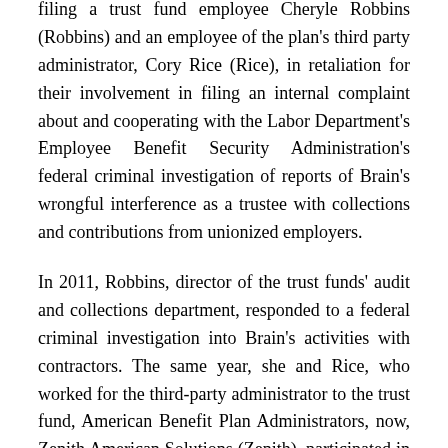filing a trust fund employee Cheryle Robbins (Robbins) and an employee of the plan's third party administrator, Cory Rice (Rice), in retaliation for their involvement in filing an internal complaint about and cooperating with the Labor Department's Employee Benefit Security Administration's federal criminal investigation of reports of Brain's wrongful interference as a trustee with collections and contributions from unionized employers.
In 2011, Robbins, director of the trust funds' audit and collections department, responded to a federal criminal investigation into Brain's activities with contractors. The same year, she and Rice, who worked for the third-party administrator to the trust fund, American Benefit Plan Administrators, now, Zenith American Solutions (Zenith), participated in an effort to complain about Brain's interference with efforts to collect delinquent contributions